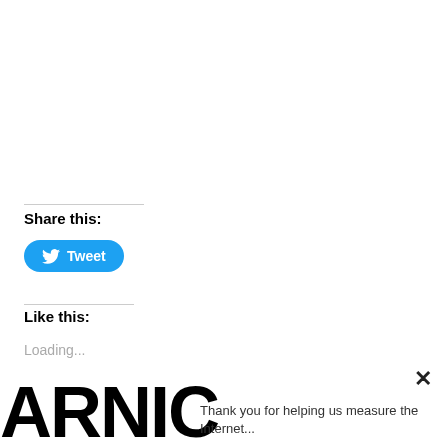Share this:
[Figure (other): Tweet button with Twitter bird icon]
Like this:
Loading...
✕
[Figure (logo): ARNIC logo in large bold black text]
Thank you for helping us measure the Internet...